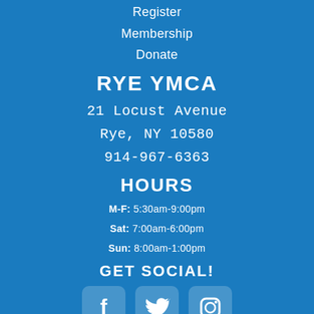Register
Membership
Donate
RYE YMCA
21 Locust Avenue
Rye, NY 10580
914-967-6363
HOURS
M-F: 5:30am-9:00pm
Sat: 7:00am-6:00pm
Sun: 8:00am-1:00pm
GET SOCIAL!
[Figure (infographic): Three social media icons: Facebook, Twitter, Instagram]
MORE INFORMATION